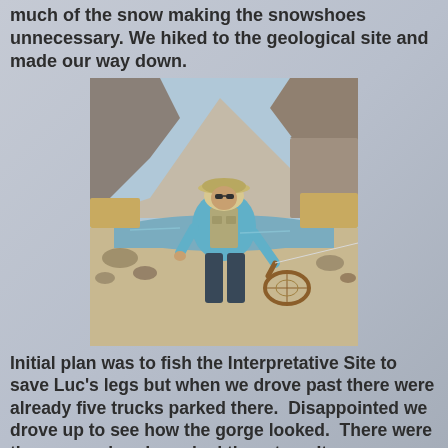much of the snow making the snowshoes unnecessary. We hiked to the geological site and made our way down.
[Figure (photo): A person wearing a light blue jacket, fishing vest, and hat, standing near a river or stream in a rocky, arid landscape holding a fishing net. Mountains visible in background.]
Initial plan was to fish the Interpretative Site to save Luc's legs but when we drove past there were already five trucks parked there.  Disappointed we drove up to see how the gorge looked.  There were three cars already parked there too.  It was discouraging to see all those vehicles but I was reminded that many locals simply park here to hike the road or walk their dogs.  So I wasn't too disheartened and decided to start hiking from there.  It ended up being a good decision.  We